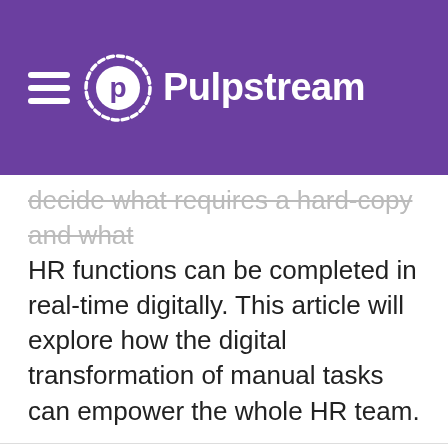Pulpstream
decide what requires a hard-copy and what HR functions can be completed in real-time digitally. This article will explore how the digital transformation of manual tasks can empower the whole HR team.
This website stores cookies on your computer. These cookies are used to improve your website experience and provide more personalized services to you, both on this website and through other media. To find out more about the cookies we use, see our Privacy Policy.
We won't track your information when you visit our site. But in order to comply with your preferences, we'll have to use just one tiny cookie so that you're not asked to make this choice again.
Accept
Decline